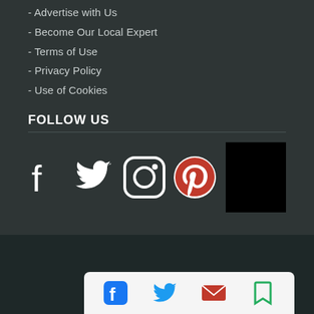- Advertise with Us
- Become Our Local Expert
- Terms of Use
- Privacy Policy
- Use of Cookies
FOLLOW US
[Figure (other): Social media icons: Facebook, Twitter, Instagram, Pinterest, and a black square (fifth icon)]
COPYRIGHT © 2022 TRIP101 Pte Ltd
Currency: USD
[Figure (other): Bottom app toolbar with Facebook, Twitter, email, and bookmark icons, plus a blue phone call button]